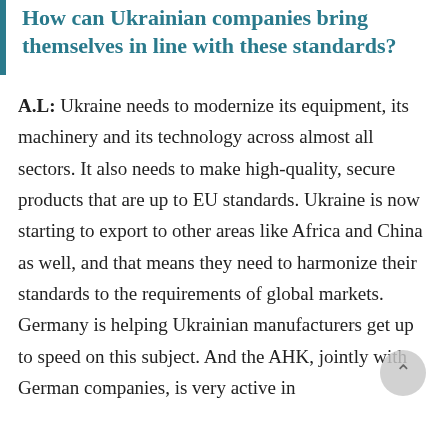How can Ukrainian companies bring themselves in line with these standards?
A.L: Ukraine needs to modernize its equipment, its machinery and its technology across almost all sectors. It also needs to make high-quality, secure products that are up to EU standards. Ukraine is now starting to export to other areas like Africa and China as well, and that means they need to harmonize their standards to the requirements of global markets. Germany is helping Ukrainian manufacturers get up to speed on this subject. And the AHK, jointly with German companies, is very active in